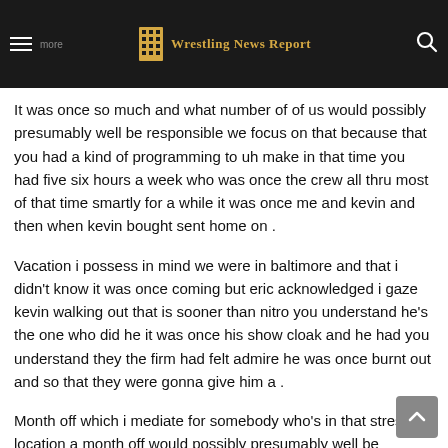Wrestling News Report
It was once so much and what number of of us would possibly presumably well be responsible we focus on that because that you had a kind of programming to uh make in that time you had five six hours a week who was once the crew all thru most of that time smartly for a while it was once me and kevin and then when kevin bought sent home on .
Vacation i possess in mind we were in baltimore and that i didn't know it was once coming but eric acknowledged i gaze kevin walking out that is sooner than nitro you understand he's the one who did he it was once his show cloak and he had you understand they the firm had felt admire he was once burnt out and so that they were gonna give him a .
Month off which i mediate for somebody who's in that stress location a month off would possibly presumably well be